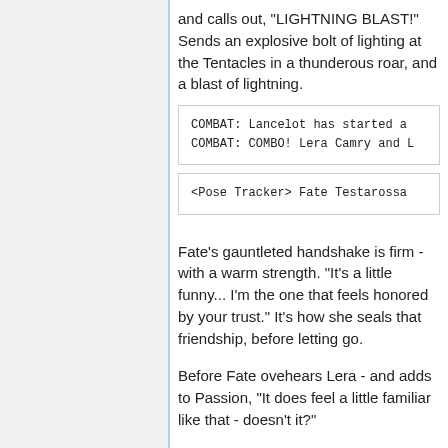and calls out, "LIGHTNING BLAST!" Sends an explosive bolt of lighting at the Tentacles in a thunderous roar, and a blast of lightning.
COMBAT: Lancelot has started a
COMBAT: COMBO! Lera Camry and L
<Pose Tracker> Fate Testarossa
Fate's gauntleted handshake is firm - with a warm strength. "It's a little funny... I'm the one that feels honored by your trust." It's how she seals that friendship, before letting go.
Before Fate ovehears Lera - and adds to Passion, "It does feel a little familiar like that - doesn't it?"